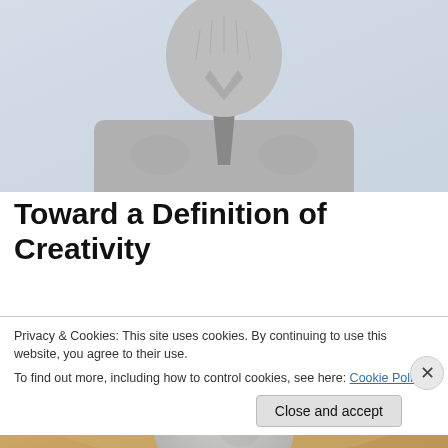[Figure (photo): Close-up of a stone or marble bust of a bearded man in a suit and tie, partially cut at the top, light blue-gray background]
Toward a Definition of Creativity
[Figure (photo): Second stone or marble bust, showing the top and back of a bald or short-haired head against a warm golden/tan sky background]
Privacy & Cookies: This site uses cookies. By continuing to use this website, you agree to their use.
To find out more, including how to control cookies, see here: Cookie Policy